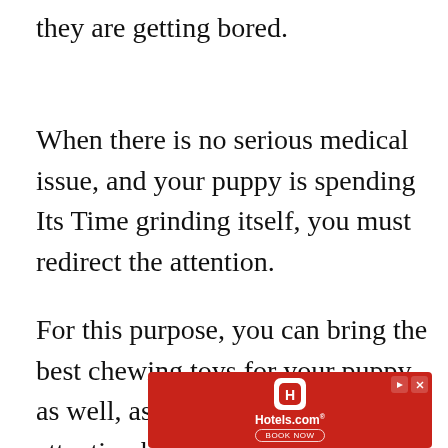they are getting bored.
When there is no serious medical issue, and your puppy is spending Its Time grinding itself, you must redirect the attention.
For this purpose, you can bring the best chewing toys for your puppy as well, as you can turn the attention by
[Figure (screenshot): Hotels.com advertisement banner with red background, Hotels.com logo icon (white rounded square with H), Hotels.com text, and BOOK NOW button]